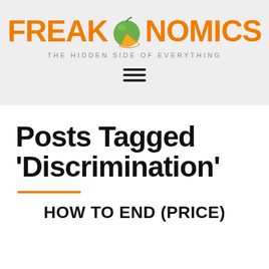[Figure (logo): Freakonomics logo: orange text reading FREAKONOMICS with a fruit graphic (green apple with orange slice) in place of the letter O, and tagline THE HIDDEN SIDE OF EVERYTHING below]
[Figure (other): Hamburger menu icon with three horizontal black lines]
Posts Tagged 'Discrimination'
HOW TO END (PRICE)